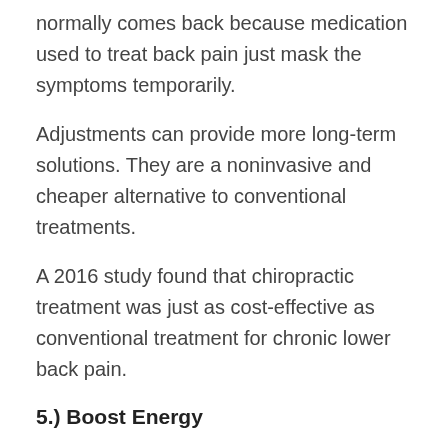normally comes back because medication used to treat back pain just mask the symptoms temporarily.
Adjustments can provide more long-term solutions. They are a noninvasive and cheaper alternative to conventional treatments.
A 2016 study found that chiropractic treatment was just as cost-effective as conventional treatment for chronic lower back pain.
5.) Boost Energy
When you have tension in your spine and on the nerves it puts a tremendous amount of stress on the body, draining your energy reserves as your body struggles to adjust. This can cause our bodies to feel run down and tried. Chiropractic